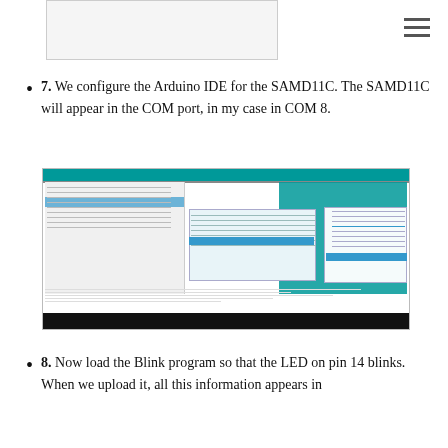[Figure (screenshot): Partial screenshot of a software dialog window at top of page]
7. We configure the Arduino IDE for the SAMD11C. The SAMD11C will appear in the COM port, in my case in COM 8.
[Figure (screenshot): Screenshot of Arduino IDE showing board and port configuration menus for SAMD11C on COM 8]
8. Now load the Blink program so that the LED on pin 14 blinks. When we upload it, all this information appears in